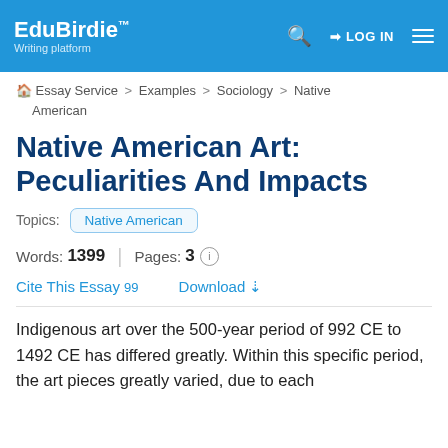EduBirdie™ Writing platform | LOG IN
Essay Service > Examples > Sociology > Native American
Native American Art: Peculiarities And Impacts
Topics: Native American
Words: 1399 | Pages: 3
Cite This Essay 99   Download
Indigenous art over the 500-year period of 992 CE to 1492 CE has differed greatly. Within this specific period, the art pieces greatly varied, due to each